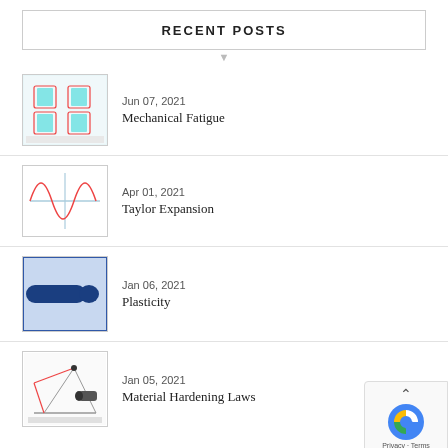RECENT POSTS
Jun 07, 2021
Mechanical Fatigue
Apr 01, 2021
Taylor Expansion
Jan 06, 2021
Plasticity
Jan 05, 2021
Material Hardening Laws